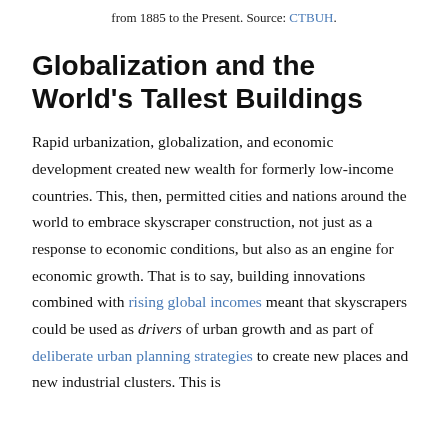from 1885 to the Present. Source: CTBUH.
Globalization and the World's Tallest Buildings
Rapid urbanization, globalization, and economic development created new wealth for formerly low-income countries. This, then, permitted cities and nations around the world to embrace skyscraper construction, not just as a response to economic conditions, but also as an engine for economic growth. That is to say, building innovations combined with rising global incomes meant that skyscrapers could be used as drivers of urban growth and as part of deliberate urban planning strategies to create new places and new industrial clusters. This is